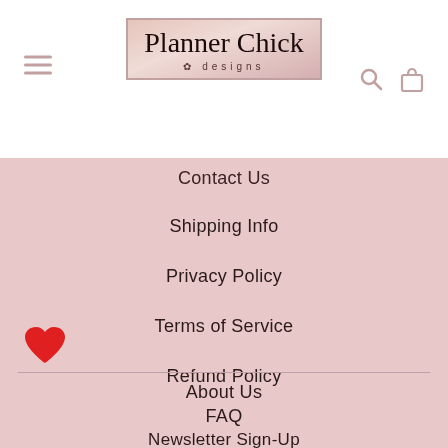[Figure (logo): Planner Chick Designs logo with cursive script text inside a rose-gold bordered rectangle with floral accents]
Contact Us
Shipping Info
Privacy Policy
Terms of Service
Refund Policy
About Us
FAQ
Newsletter Sign-Up
USD $